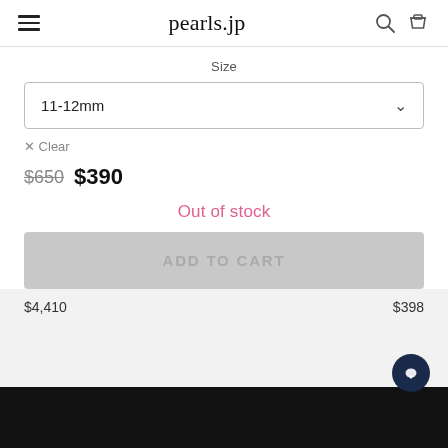pearls.jp
Size
11-12mm
× Clear
$650  $390
Out of stock
ADD TO CART
$4,410   $398